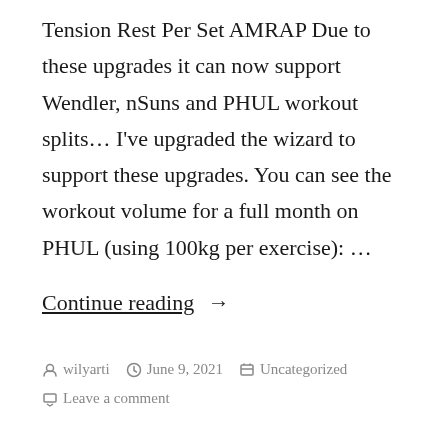Tension Rest Per Set AMRAP Due to these upgrades it can now support Wendler, nSuns and PHUL workout splits… I've upgraded the wizard to support these upgrades. You can see the workout volume for a full month on PHUL (using 100kg per exercise): …
Continue reading →
wilyarti  June 9, 2021  Uncategorized  Leave a comment